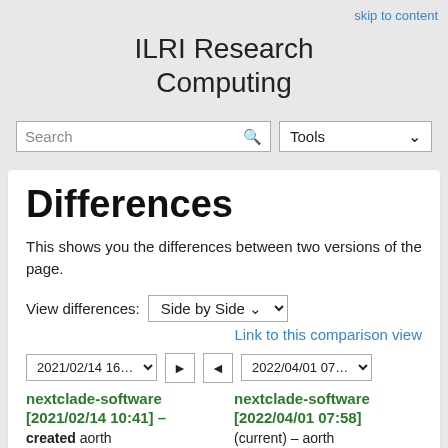skip to content
ILRI Research Computing
Search   Tools
Differences
This shows you the differences between two versions of the page.
View differences: Side by Side
Link to this comparison view
2021/02/14 16… ►   ◄ 2022/04/01 07…
nextclade-software [2021/02/14 10:41] – created aorth
nextclade-software [2022/04/01 07:58] (current) – aorth
Line 4:   Line 4: